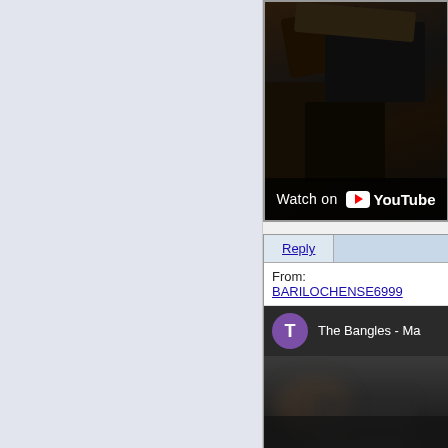[Figure (screenshot): Screenshot of a web page showing a YouTube video embed with 'Watch on YouTube' overlay text and logo, partially cropped on right side]
[Figure (screenshot): Screenshot of an email/forum reply section showing a Reply tab, From field with username BARILOCHENSE6999, and a YouTube video embed for 'The Bangles - Ma...' with purple T channel avatar]